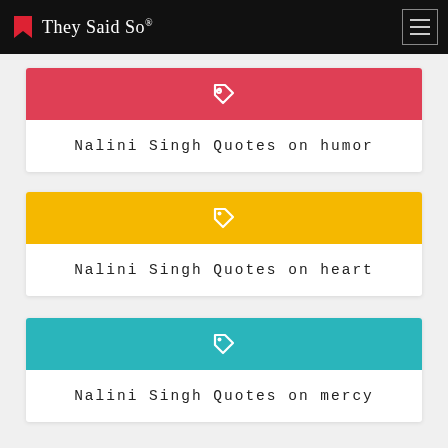They Said So®
Nalini Singh Quotes on humor
Nalini Singh Quotes on heart
Nalini Singh Quotes on mercy